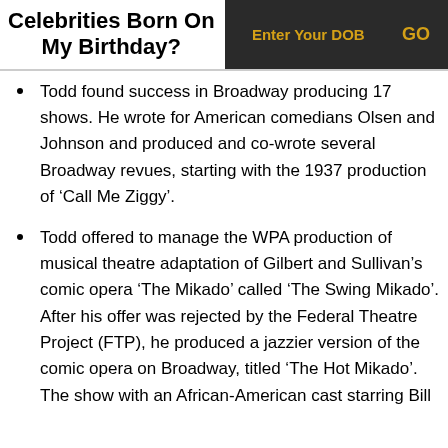Celebrities Born On My Birthday?
Todd found success in Broadway producing 17 shows. He wrote for American comedians Olsen and Johnson and produced and co-wrote several Broadway revues, starting with the 1937 production of ‘Call Me Ziggy’.
Todd offered to manage the WPA production of musical theatre adaptation of Gilbert and Sullivan’s comic opera ‘The Mikado’ called ‘The Swing Mikado’. After his offer was rejected by the Federal Theatre Project (FTP), he produced a jazzier version of the comic opera on Broadway, titled ‘The Hot Mikado’. The show with an African-American cast starring Bill